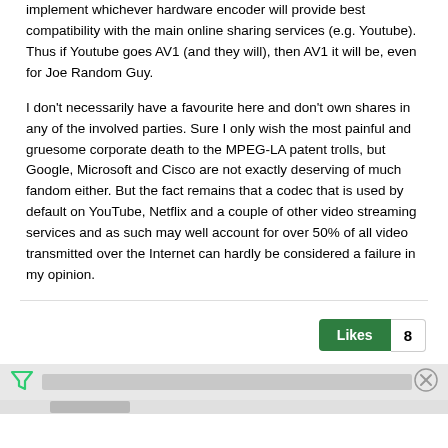implement whichever hardware encoder will provide best compatibility with the main online sharing services (e.g. Youtube). Thus if Youtube goes AV1 (and they will), then AV1 it will be, even for Joe Random Guy.
I don't necessarily have a favourite here and don't own shares in any of the involved parties. Sure I only wish the most painful and gruesome corporate death to the MPEG-LA patent trolls, but Google, Microsoft and Cisco are not exactly deserving of much fandom either. But the fact remains that a codec that is used by default on YouTube, Netflix and a couple of other video streaming services and as such may well account for over 50% of all video transmitted over the Internet can hardly be considered a failure in my opinion.
[Figure (other): Likes button showing count of 8, and an advertisement bar with a filter/funnel icon, a gray content strip, and a close (X) button]